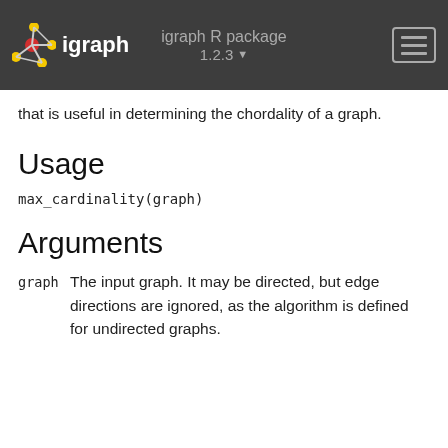igraph R package 1.2.3 — igraph
that is useful in determining the chordality of a graph.
Usage
Arguments
graph — The input graph. It may be directed, but edge directions are ignored, as the algorithm is defined for undirected graphs.